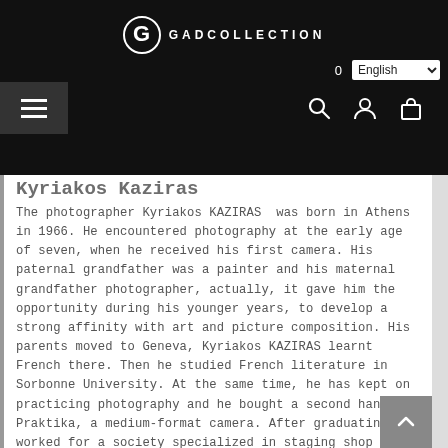[Figure (logo): GAD Collection logo — circular G icon in white on dark background with text GADCOLLECTION]
0  English
The photographer Kyriakos KAZIRAS was born in Athens in 1966. He encountered photography at the early age of seven, when he received his first camera. His paternal grandfather was a painter and his maternal grandfather photographer, actually, it gave him the opportunity during his younger years, to develop a strong affinity with art and picture composition. His parents moved to Geneva, Kyriakos KAZIRAS learnt French there. Then he studied French literature in Sorbonne University. At the same time, he has kept on practicing photography and he bought a second hand Praktika, a medium-format camera. After graduating, he worked for a society specialized in staging shop windows when photography caught him back.  It was during a trip to Zimbabwe that Kyriakos KAZIRAS felt the urge to photograph. The African landscapes, with their vivid lights and the wild